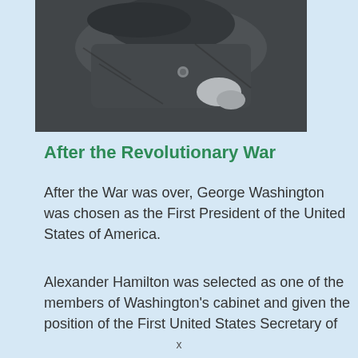[Figure (photo): Black and white historical photograph showing a person in period military or formal clothing, partially visible, cropped view.]
After the Revolutionary War
After the War was over, George Washington was chosen as the First President of the United States of America.
Alexander Hamilton was selected as one of the members of Washington's cabinet and given the position of the First United States Secretary of
x